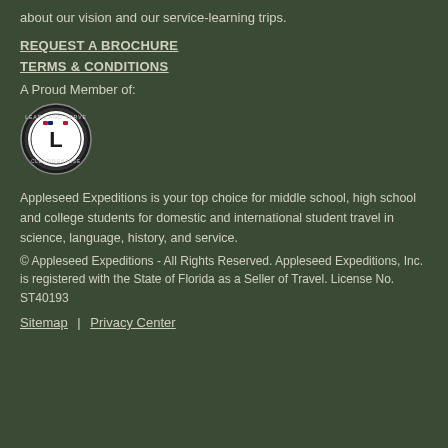about our vision and our service-learning trips.
REQUEST A BROCHURE
TERMS & CONDITIONS
A Proud Member of:
[Figure (logo): Learn and Serve Clearinghouse circular badge logo with an 'L' in the center]
Appleseed Expeditions is your top choice for middle school, high school and college students for domestic and international student travel in science, language, history, and service.
© Appleseed Expeditions - All Rights Reserved. Appleseed Expeditions, Inc. is registered with the State of Florida as a Seller of Travel. License No. ST40193
Sitemap  |  Privacy Center